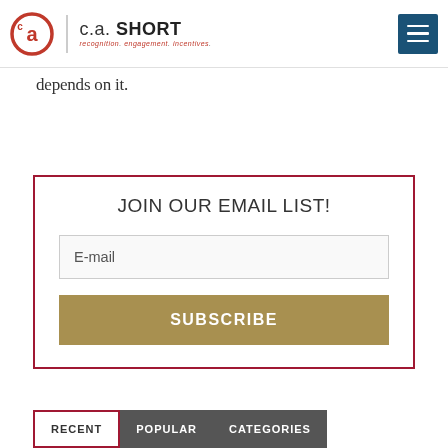C.A. SHORT - recognition. engagement. incentives.
depends on it.
JOIN OUR EMAIL LIST!
E-mail
SUBSCRIBE
RECENT | POPULAR | CATEGORIES